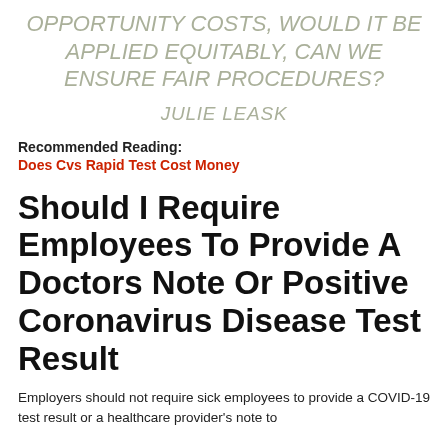OPPORTUNITY COSTS, WOULD IT BE APPLIED EQUITABLY, CAN WE ENSURE FAIR PROCEDURES?
JULIE LEASK
Recommended Reading:
Does Cvs Rapid Test Cost Money
Should I Require Employees To Provide A Doctors Note Or Positive Coronavirus Disease Test Result
Employers should not require sick employees to provide a COVID-19 test result or a healthcare provider's note to